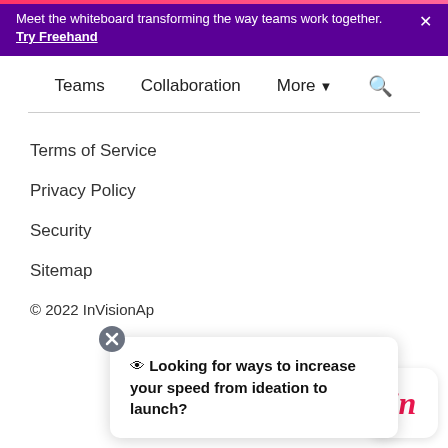Meet the whiteboard transforming the way teams work together. Try Freehand
Teams   Collaboration   More   🔍
Terms of Service
Privacy Policy
Security
Sitemap
© 2022 InVisionAp
👁 Looking for ways to increase your speed from ideation to launch?